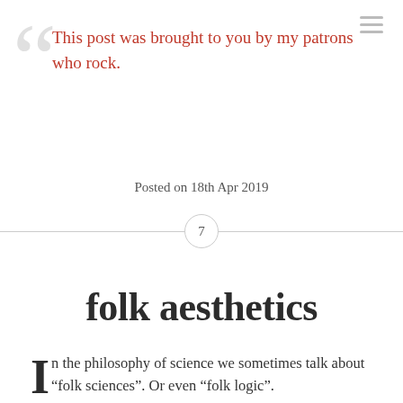This post was brought to you by my patrons who rock.
Posted on 18th Apr 2019
7
folk aesthetics
In the philosophy of science we sometimes talk about “folk sciences”. Or even “folk logic”.